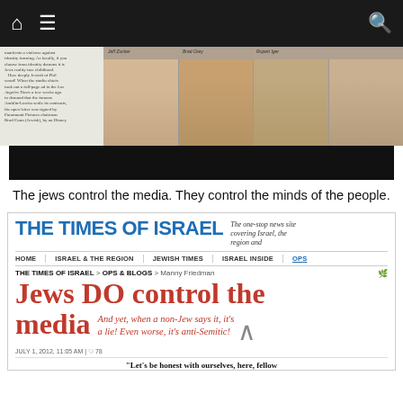Navigation bar with home, menu, and search icons
[Figure (photo): Top portion showing a newspaper clipping with text on the left and four male faces/headshots on the right, followed by a black bar below]
The jews control the media. They control the minds of the people.
[Figure (screenshot): Screenshot of Times of Israel article page showing: THE TIMES OF ISRAEL logo with tagline 'The one-stop news site covering Israel, the region and', navigation menu with HOME, ISRAEL & THE REGION, JEWISH TIMES, ISRAEL INSIDE, OPS, breadcrumb 'THE TIMES OF ISRAEL > OPS & BLOGS > Manny Friedman', headline 'Jews DO control the media', subtext 'And yet, when a non-Jew says it, it\'s a lie! Even worse, it\'s anti-Semitic!', date 'JULY 1, 2012, 11:05 AM | 78', and partial quote '"Let\'s be honest with ourselves, here, fellow']